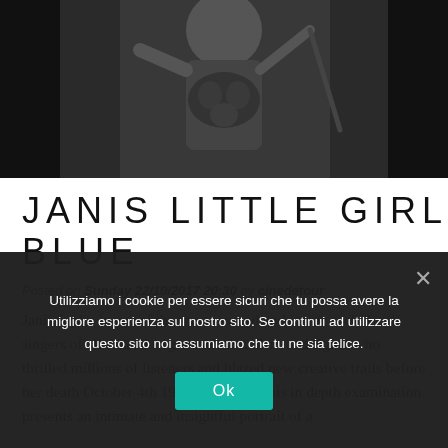[Figure (photo): Black and white photograph of a woman, likely Janis Joplin, cropped at top of page]
JANIS LITTLE GIRL BLUE
Posted on Sunday 22/10/2017 20:30 by cinedetour
Janis Joplin is one of the most revered and iconic rock & roll singers of all time, a tragic and misunderstood figure who thrilled millions of listeners and blazed new creative trails before her death October 4th 1970 at age 27. This in depth examination presents an intimate and insightful portrait of a
Utilizziamo i cookie per essere sicuri che tu possa avere la migliore esperienza sul nostro sito. Se continui ad utilizzare questo sito noi assumiamo che tu ne sia felice.
Ok